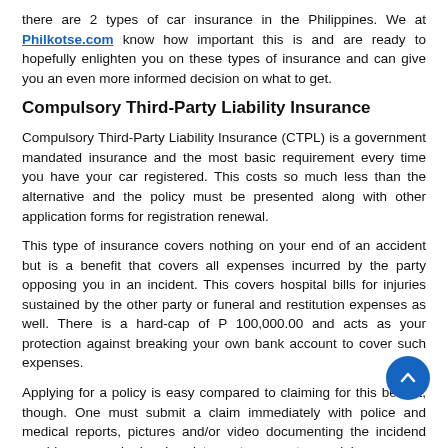there are 2 types of car insurance in the Philippines. We at Philkotse.com know how important this is and are ready to hopefully enlighten you on these types of insurance and can give you an even more informed decision on what to get.
Compulsory Third-Party Liability Insurance
Compulsory Third-Party Liability Insurance (CTPL) is a government mandated insurance and the most basic requirement every time you have your car registered. This costs so much less than the alternative and the policy must be presented along with other application forms for registration renewal.
This type of insurance covers nothing on your end of an accident but is a benefit that covers all expenses incurred by the party opposing you in an incident. This covers hospital bills for injuries sustained by the other party or funeral and restitution expenses as well. There is a hard-cap of P 100,000.00 and acts as your protection against breaking your own bank account to cover such expenses.
Applying for a policy is easy compared to claiming for this benefit, though. One must submit a claim immediately with police and medical reports, pictures and/or video documenting the incident and would even require legal assistance to support your claim.
Therefore, before determining the best insurance fit your needs as well as your budget, you can visit our updated Philippines car price list to have a proper financing to your next car purchase.